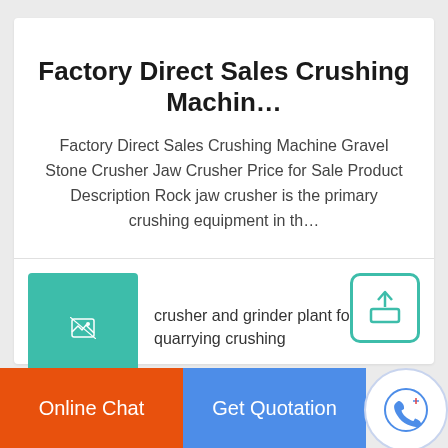Factory Direct Sales Crushing Machin…
Factory Direct Sales Crushing Machine Gravel Stone Crusher Jaw Crusher Price for Sale Product Description Rock jaw crusher is the primary crushing equipment in th…
[Figure (photo): Teal/green square thumbnail placeholder image for crusher and grinder plant for mineral quarrying crushing, with an upload/share icon box in top-right corner]
crusher and grinder plant for mineral quarrying crushing
Online Chat | Get Quotation